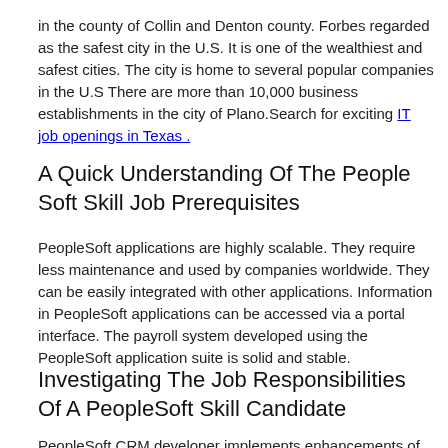in the county of Collin and Denton county. Forbes regarded as the safest city in the U.S. It is one of the wealthiest and safest cities. The city is home to several popular companies in the U.S There are more than 10,000 business establishments in the city of Plano.Search for exciting IT job openings in Texas .
A Quick Understanding Of The People Soft Skill Job Prerequisites
PeopleSoft applications are highly scalable. They require less maintenance and used by companies worldwide. They can be easily integrated with other applications. Information in PeopleSoft applications can be accessed via a portal interface. The payroll system developed using the PeopleSoft application suite is solid and stable.
Investigating The Job Responsibilities Of A PeopleSoft Skill Candidate
PeopleSoft CRM developer implements enhancements of the existing PeopleSoft Applications. PeopleSoft